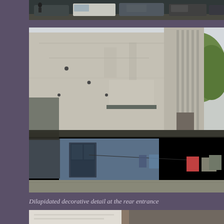[Figure (photo): Partial view of cars parked, cropped at top of page]
[Figure (photo): Exterior view of a dilapidated multi-storey building with weathered concrete walls, a lower blue painted section with clothes hanging on a line, corrugated roof extensions, and trees visible on the right side]
Dilapidated decorative detail at the rear entrance
[Figure (photo): Partial view of building detail at the rear entrance, cropped at bottom of page]